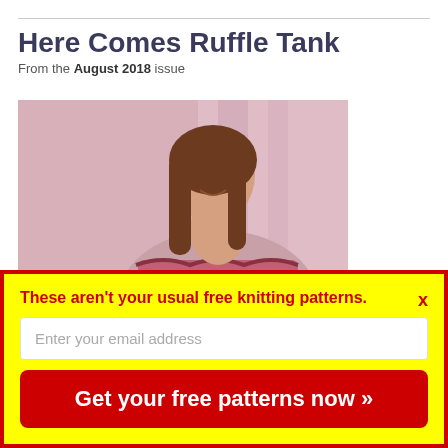Here Comes Ruffle Tank
From the August 2018 issue
[Figure (photo): Woman smiling, wearing a pink knitted ruffle tank top, with a pink fabric background.]
These aren't your usual free knitting patterns.
Enter your email address
Get your free patterns now »